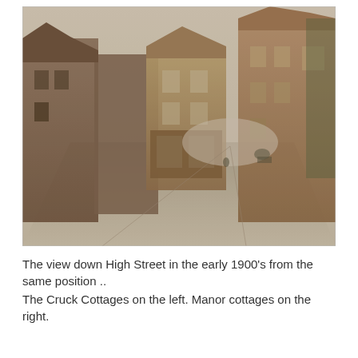[Figure (photo): Historical black-and-white sepia photograph showing a view down High Street in the early 1900s. The street is flanked by old buildings including Cruck Cottages on the left and Manor cottages on the right, with a road receding into the distance.]
The view down High Street in the early 1900's from the same position .. The Cruck Cottages on the left. Manor cottages on the right.